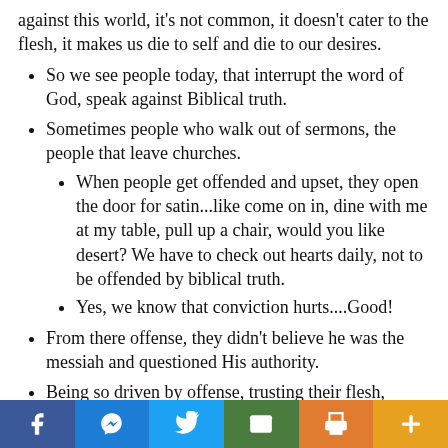against this world, it's not common, it doesn't cater to the flesh, it makes us die to self and die to our desires.
So we see people today, that interrupt the word of God, speak against Biblical truth.
Sometimes people who walk out of sermons, the people that leave churches.
When people get offended and upset, they open the door for satin...like come on in, dine with me at my table, pull up a chair, would you like desert? We have to check out hearts daily, not to be offended by biblical truth.
Yes, we know that conviction hurts....Good!
From there offense, they didn't believe he was the messiah and questioned His authority.
Being so driven by offense, trusting their flesh, agreeing with enemies lies, they refused the